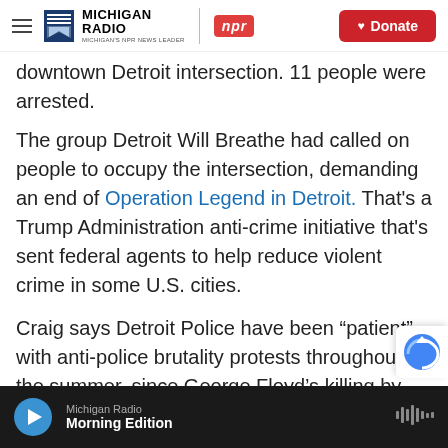Michigan Radio | NPR | Donate
downtown Detroit intersection. 11 people were arrested.
The group Detroit Will Breathe had called on people to occupy the intersection, demanding an end of Operation Legend in Detroit. That's a Trump Administration anti-crime initiative that's sent federal agents to help reduce violent crime in some U.S. cities.
Craig says Detroit Police have been “patient” with anti-police brutality protests throughout the summer, since George Floyd’s killing by Minneapolis Police in late May. But he said he
Michigan Radio | Morning Edition